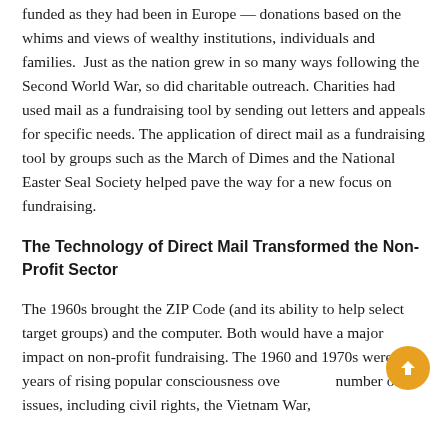funded as they had been in Europe — donations based on the whims and views of wealthy institutions, individuals and families.  Just as the nation grew in so many ways following the Second World War, so did charitable outreach. Charities had used mail as a fundraising tool by sending out letters and appeals for specific needs. The application of direct mail as a fundraising tool by groups such as the March of Dimes and the National Easter Seal Society helped pave the way for a new focus on fundraising.
The Technology of Direct Mail Transformed the Non-Profit Sector
The 1960s brought the ZIP Code (and its ability to help select target groups) and the computer. Both would have a major impact on non-profit fundraising. The 1960 and 1970s were years of rising popular consciousness over a number of issues, including civil rights, the Vietnam War, and the environment. Many non-profit advocacy and lobbying